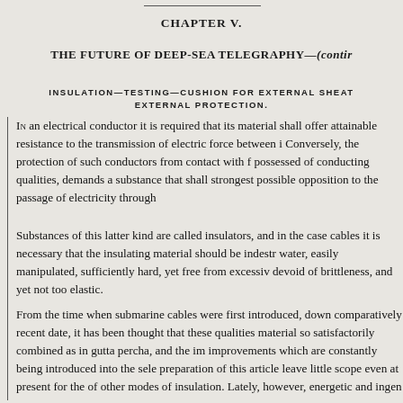CHAPTER V.
THE FUTURE OF DEEP-SEA TELEGRAPHY—(contir
INSULATION—TESTING—CUSHION FOR EXTERNAL SHEAT EXTERNAL PROTECTION.
In an electrical conductor it is required that its material shall offer attainable resistance to the transmission of electric force between i Conversely, the protection of such conductors from contact with f possessed of conducting qualities, demands a substance that shall strongest possible opposition to the passage of electricity through
Substances of this latter kind are called insulators, and in the case cables it is necessary that the insulating material should be indestr water, easily manipulated, sufficiently hard, yet free from excessiv devoid of brittleness, and yet not too elastic.
From the time when submarine cables were first introduced, down comparatively recent date, it has been thought that these qualities material so satisfactorily combined as in gutta percha, and the im improvements which are constantly being introduced into the sele preparation of this article leave little scope even at present for the of other modes of insulation. Lately, however, energetic and ingen